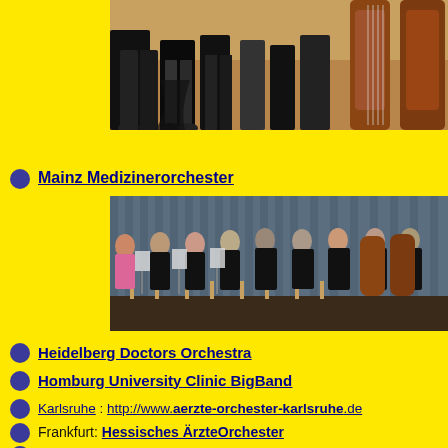[Figure (photo): Orchestra musicians standing, partial view showing legs and instruments including cellos, yellow-toned venue]
http://camerata-medica.de
Mainz Medizinerorchester
[Figure (photo): Orchestra rehearsal or concert with musicians seated playing strings and other instruments in a hall]
Heidelberg Doctors Orchestra
Homburg University Clinic BigBand
Karlsruhe : http://www.aerzte-orchester-karlsruhe.de
Frankfurt: Hessisches ÄrzteOrchester
Augsburg Doctors Orchestra ... their CDs